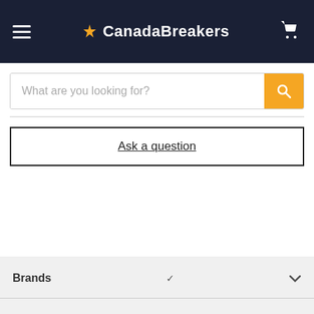CanadaBreakers
What are you looking for?
Ask a question
Brands
Customer Care
Special Offers